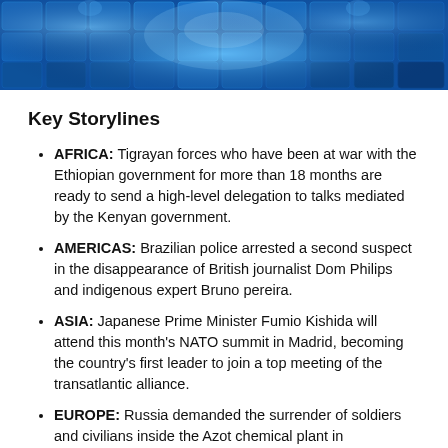[Figure (illustration): Blue hexagonal/tile banner graphic with glowing light effects and geometric patterns in shades of blue]
Key Storylines
AFRICA: Tigrayan forces who have been at war with the Ethiopian government for more than 18 months are ready to send a high-level delegation to talks mediated by the Kenyan government.
AMERICAS: Brazilian police arrested a second suspect in the disappearance of British journalist Dom Philips and indigenous expert Bruno pereira.
ASIA: Japanese Prime Minister Fumio Kishida will attend this month's NATO summit in Madrid, becoming the country's first leader to join a top meeting of the transatlantic alliance.
EUROPE: Russia demanded the surrender of soldiers and civilians inside the Azot chemical plant in Sievierodonetsk.